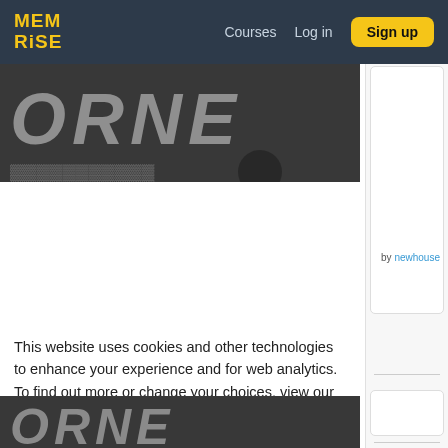MEM RISE | Courses | Log in | Sign up
[Figure (screenshot): Dark background image with large stylized bold italic text, partially visible, showing letters that appear to be part of a course title.]
by newhouse
This website uses cookies and other technologies to enhance your experience and for web analytics. To find out more or change your choices, view our Cookie Policy. By clicking I agree you consent to the use of such cookies.
I agree
[Figure (screenshot): Dark background image strip at bottom with partial stylized bold italic text, similar to top image.]